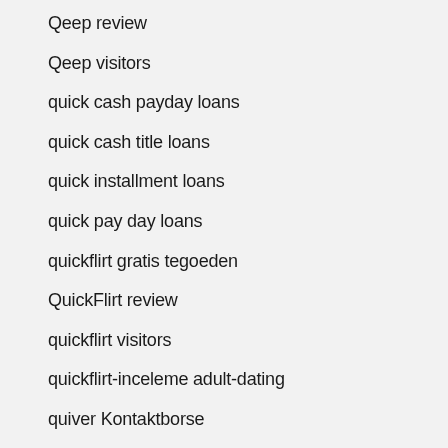Qeep review
Qeep visitors
quick cash payday loans
quick cash title loans
quick installment loans
quick pay day loans
quickflirt gratis tegoeden
QuickFlirt review
quickflirt visitors
quickflirt-inceleme adult-dating
quiver Kontaktborse
Quiver visitors